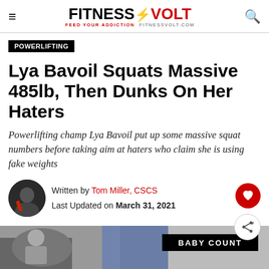FITNESS VOLT — FEED YOUR ADDICTION FITNESSVOLT.COM
POWERLIFTING
Lya Bavoil Squats Massive 485lb, Then Dunks On Her Haters
Powerlifting champ Lya Bavoil put up some massive squat numbers before taking aim at haters who claim she is using fake weights
Written by Tom Miller, CSCS
Last Updated on March 31, 2021
[Figure (photo): Bottom portion of article page showing a photo with BABY COUNT label overlay]